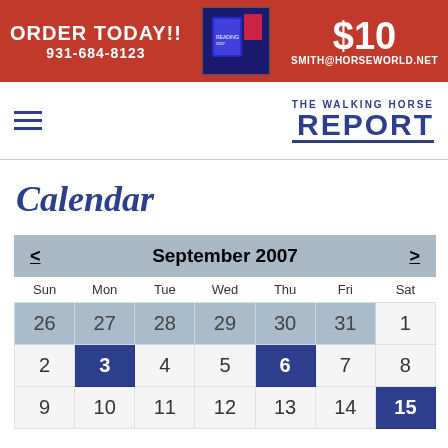[Figure (infographic): Red advertisement banner: ORDER TODAY!! 931-684-8123, image of a book/DVD, $10, SMITH@HORSEWORLD.NET]
[Figure (logo): The Walking Horse Report logo with hamburger menu icon]
Calendar
| Sun | Mon | Tue | Wed | Thu | Fri | Sat |
| --- | --- | --- | --- | --- | --- | --- |
| 26 | 27 | 28 | 29 | 30 | 31 | 1 |
| 2 | 3 | 4 | 5 | 6 | 7 | 8 |
| 9 | 10 | 11 | 12 | 13 | 14 | 15 |